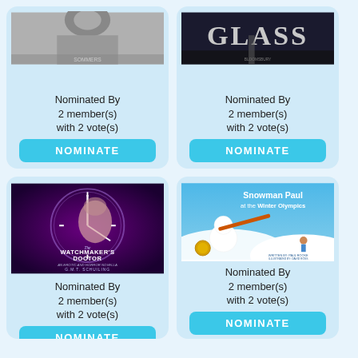[Figure (photo): Book cover partially visible at top - grayscale image, top portion cut off]
Nominated By
2 member(s)
with 2 vote(s)
NOMINATE
[Figure (photo): Book cover with text GLASS partially visible at top - dark cover with figure]
Nominated By
2 member(s)
with 2 vote(s)
NOMINATE
[Figure (photo): The Watchmaker's Doctor book cover by G.M.T. Schuiling - purple/dark cover with woman's face and clock]
Nominated By
2 member(s)
with 2 vote(s)
[Figure (photo): Snowman Paul at the Winter Olympics book cover - colorful winter scene with snowman]
Nominated By
2 member(s)
with 2 vote(s)
NOMINATE